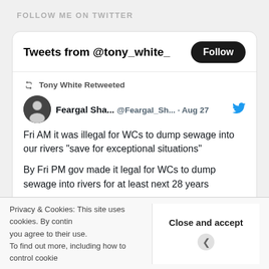FOLLOW ME ON TWITTER
[Figure (screenshot): Twitter widget showing 'Tweets from @tony_white_' with a Follow button, and a retweet by Tony White from @Feargal_Sh... dated Aug 27 about WCs dumping sewage into rivers]
Tony White Retweeted
Feargal Sha... @Feargal_Sh... · Aug 27
Fri AM it was illegal for WCs to dump sewage into our rivers "save for exceptional situations"

By Fri PM gov made it legal for WCs to dump sewage into rivers for at least next 28 years

Despite the warnings MPs deny that's what
Privacy & Cookies: This site uses cookies. By contin you agree to their use.
To find out more, including how to control cookie Close and accept